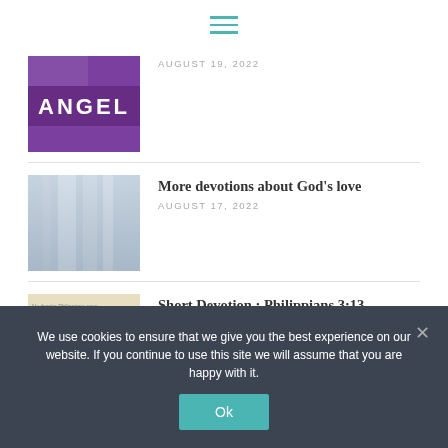Navigation menu icon
[Figure (photo): Thumbnail image with purple background and text ANGEL]
AUGUST 19, 2022
[Figure (photo): Thumbnail image of a waterfall with blurred grey tones]
More devotions about God's love
AUGUST 17, 2022
[Figure (photo): Thumbnail image of handwritten/printed paper with text]
Short Devotion : Philippians 3:13
AUGUST 15, 2022
We use cookies to ensure that we give you the best experience on our website. If you continue to use this site we will assume that you are happy with it.